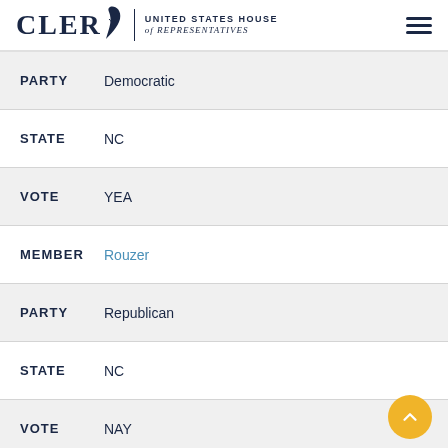CLERK | UNITED STATES HOUSE of REPRESENTATIVES
PARTY  Democratic
STATE  NC
VOTE  YEA
MEMBER  Rouzer
PARTY  Republican
STATE  NC
VOTE  NAY